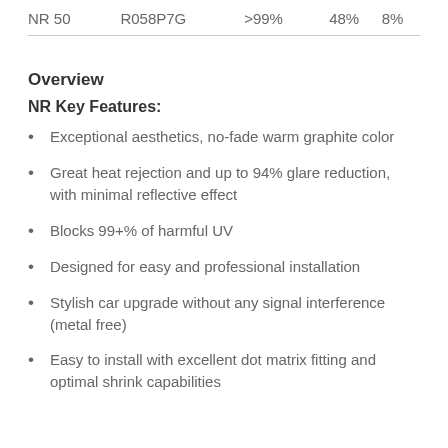| NR 50 | R058P7G | >99% | 48% | 8% |
| --- | --- | --- | --- | --- |
Overview
NR Key Features:
Exceptional aesthetics, no-fade warm graphite color
Great heat rejection and up to 94% glare reduction, with minimal reflective effect
Blocks 99+% of harmful UV
Designed for easy and professional installation
Stylish car upgrade without any signal interference (metal free)
Easy to install with excellent dot matrix fitting and optimal shrink capabilities